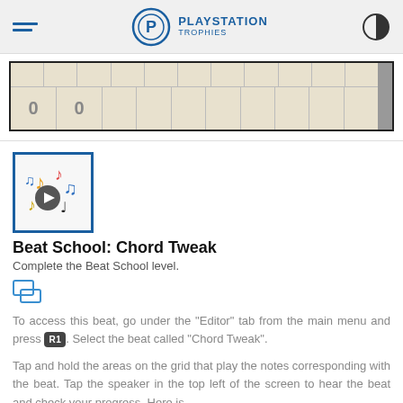PLAYSTATION TROPHIES
[Figure (screenshot): A grid/sequencer interface showing two columns with zeros, beige/tan colored cells in a grid layout with a scrollbar on the right.]
[Figure (illustration): Game icon for Beat School with colorful musical notes and a navigation arrow on white background with blue border.]
Beat School: Chord Tweak
Complete the Beat School level.
To access this beat, go under the "Editor" tab from the main menu and press R1. Select the beat called "Chord Tweak".
Tap and hold the areas on the grid that play the notes corresponding with the beat. Tap the speaker in the top left of the screen to hear the beat and check your progress. Here is